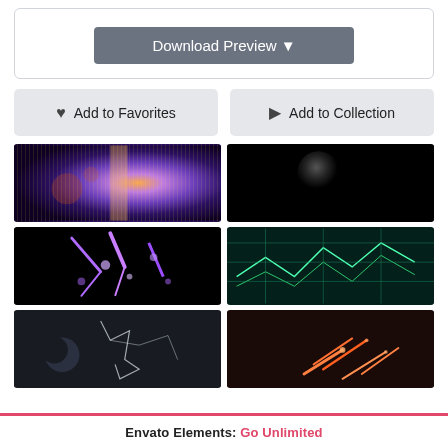[Figure (screenshot): Download Preview button with dark grey background]
[Figure (screenshot): Add to Favorites and Add to Collection buttons]
[Figure (photo): Grid of 6 dark sci-fi/space themed video preview thumbnails]
Envato Elements: Go Unlimited